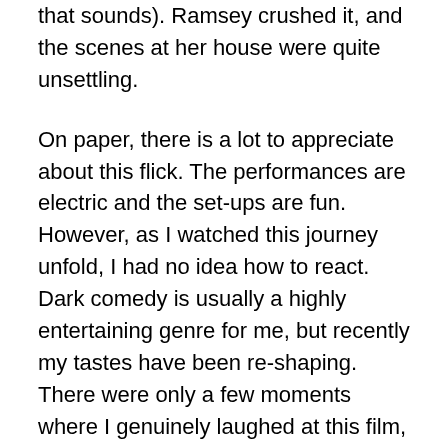that sounds). Ramsey crushed it, and the scenes at her house were quite unsettling.
On paper, there is a lot to appreciate about this flick. The performances are electric and the set-ups are fun. However, as I watched this journey unfold, I had no idea how to react. Dark comedy is usually a highly entertaining genre for me, but recently my tastes have been re-shaping. There were only a few moments where I genuinely laughed at this film, whereas for the rest of it I sat massaging my chin. It was strange and didn't sit well with me at times; the filmmaking style held some fairly horrific shots, all meant to amp up the twisted nature of this narrative. I understood it, but didn't necessarily fall in love. And in some strange way, I was kind of disappointed they didn't go all the way. By the end of the movie, everything resolved itself in a fashion that seemed like the